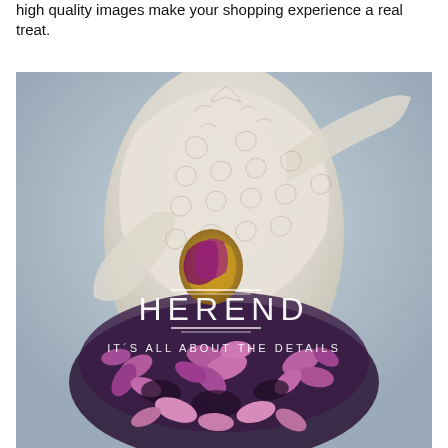high quality images make your shopping experience a real treat.
[Figure (photo): Close-up photo of a Herend porcelain figurine with intricate floral tattoo-like patterns in cream and gold, wearing a purple and pink floral dress, holding something in front of its face. Overlaid with the Herend logo text and tagline 'IT'S ALL ABOUT THE DETAILS' in white.]